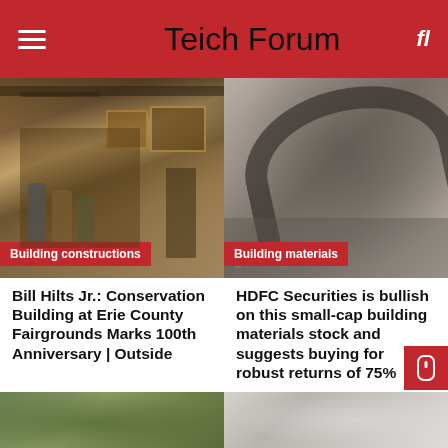Teich Forum
[Figure (photo): Interior of an art exhibition or fair with people browsing paintings and prints displayed on walls and racks]
Building constructions
[Figure (photo): Close-up of an industrial drain or gutter with gravel/aggregate material — building materials context]
Building materials
Bill Hilts Jr.: Conservation Building at Erie County Fairgrounds Marks 100th Anniversary | Outside
4 hours ago  Joan K. Kincaid
HDFC Securities is bullish on this small-cap building materials stock and suggests buying for robust returns of 75%
7 hours ago  Joan K. Ki